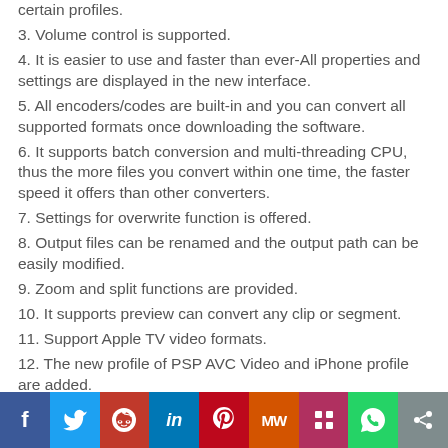certain profiles.
3. Volume control is supported.
4. It is easier to use and faster than ever-All properties and settings are displayed in the new interface.
5. All encoders/codes are built-in and you can convert all supported formats once downloading the software.
6. It supports batch conversion and multi-threading CPU, thus the more files you convert within one time, the faster speed it offers than other converters.
7. Settings for overwrite function is offered.
8. Output files can be renamed and the output path can be easily modified.
9. Zoom and split functions are provided.
10. It supports preview can convert any clip or segment.
11. Support Apple TV video formats.
12. The new profile of PSP AVC Video and iPhone profile are added.